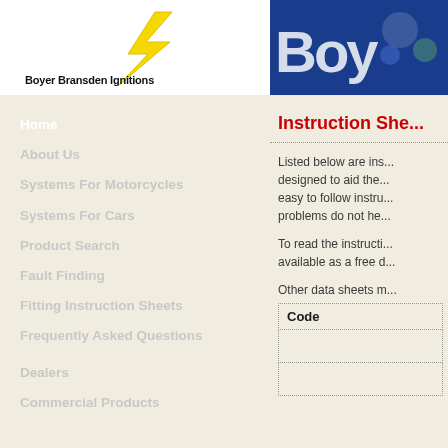[Figure (logo): Boyer Bransden Ignitions logo with yellow lightning bolt on white background, company name text below]
[Figure (logo): Boyer brand logo on dark blue background with partial text 'Boy...']
Home
About Us
Systems For Motorcycles
Systems For Cars
Product Search
Fault Finding
Fitting Instruction Sheets
Frequently Asked Questions
Dealers
Commercial Products
Instruction She...
Listed below are ins... designed to aid the... easy to follow instru... problems do not he...
To read the instructi... available as a free d...
Other data sheets m...
| Code |
| --- |
|  |
|  |